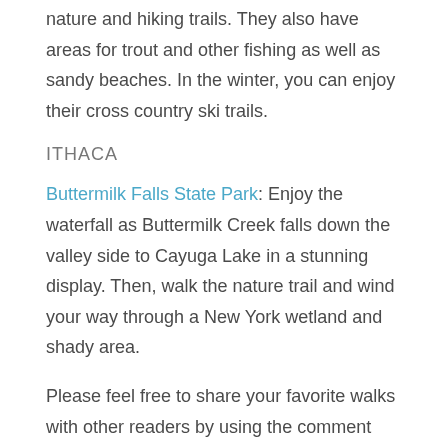nature and hiking trails. They also have areas for trout and other fishing as well as sandy beaches. In the winter, you can enjoy their cross country ski trails.
ITHACA
Buttermilk Falls State Park: Enjoy the waterfall as Buttermilk Creek falls down the valley side to Cayuga Lake in a stunning display. Then, walk the nature trail and wind your way through a New York wetland and shady area.
Please feel free to share your favorite walks with other readers by using the comment section below.
LEAVE COMMENT